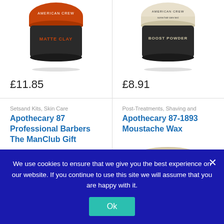[Figure (photo): American Crew Matte Clay product jar (orange lid, black container)]
£11.85
[Figure (photo): American Crew Boost Powder product jar (white/cream lid, black container)]
£8.91
Setsand Kits, Skin Care
Apothecary 87 Professional Barbers The ManClub Gift
Post-Treatments, Shaving and
Apothecary 87-1893 Moustache Wax
[Figure (photo): Apothecary 87 ManClub Gift product packaging (green/black box)]
[Figure (photo): Apothecary 87 Moustache Wax product tin]
We use cookies to ensure that we give you the best experience on our website. If you continue to use this site we will assume that you are happy with it.